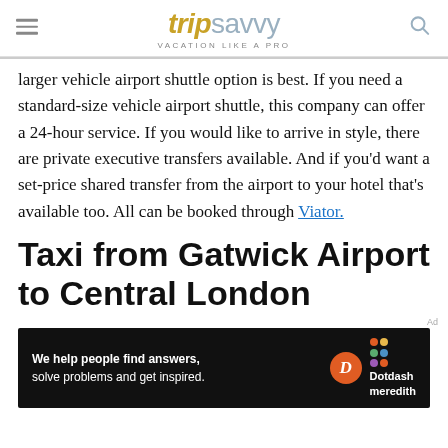tripsavvy VACATION LIKE A PRO
larger vehicle airport shuttle option is best. If you need a standard-size vehicle airport shuttle, this company can offer a 24-hour service. If you would like to arrive in style, there are private executive transfers available. And if you'd want a set-price shared transfer from the airport to your hotel that's available too. All can be booked through Viator.
Taxi from Gatwick Airport to Central London
[Figure (other): Dotdash Meredith advertisement banner: 'We help people find answers, solve problems and get inspired.' with Dotdash Meredith logo]